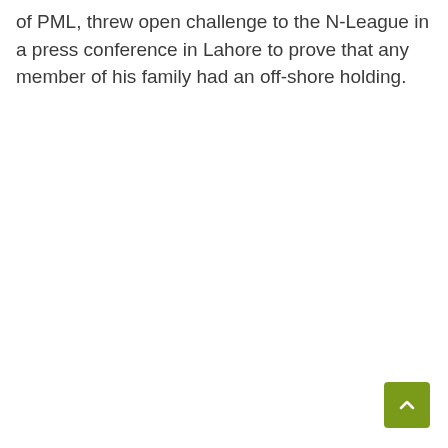of PML, threw open challenge to the N-League in a press conference in Lahore to prove that any member of his family had an off-shore holding.